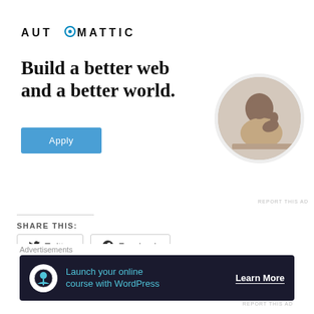[Figure (logo): Automattic company logo with stylized circle-O]
Build a better web and a better world.
[Figure (photo): Circular photo of a man thinking, resting chin on hand at a desk]
Apply
REPORT THIS AD
SHARE THIS:
Twitter
Facebook
Like
3 bloggers like this
Advertisements
Launch your online course with WordPress
Learn More
REPORT THIS AD